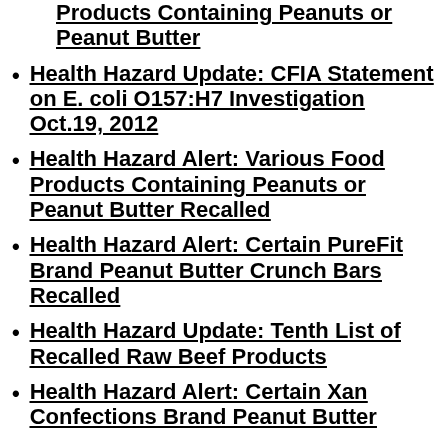Products Containing Peanuts or Peanut Butter
Health Hazard Update: CFIA Statement on E. coli O157:H7 Investigation Oct.19, 2012
Health Hazard Alert: Various Food Products Containing Peanuts or Peanut Butter Recalled
Health Hazard Alert: Certain PureFit Brand Peanut Butter Crunch Bars Recalled
Health Hazard Update: Tenth List of Recalled Raw Beef Products
Health Hazard Alert: Certain Xan Confections Brand Peanut Butter